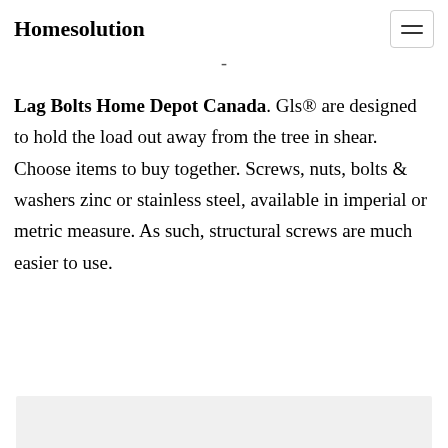Homesolution
Lag Bolts Home Depot Canada. Gls® are designed to hold the load out away from the tree in shear. Choose items to buy together. Screws, nuts, bolts & washers zinc or stainless steel, available in imperial or metric measure. As such, structural screws are much easier to use.